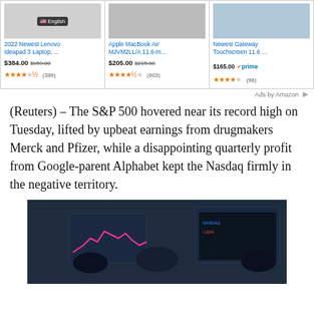[Figure (screenshot): Amazon ad banner showing three laptop products: 2022 Newest Lenovo Ideapad 3 Laptop at $384.00 (was $959.00, 4.5 stars, 389 reviews), Apple MacBook Air MJVM2LL/A 11.6-In... at $205.00 (was $215.00, 4.5 stars, 603 reviews), Newest Gateway Touchscreen 11.6... at $165.00 with Prime badge (3.5 stars, 98 reviews)]
Ads by Amazon
(Reuters) – The S&P 500 hovered near its record high on Tuesday, lifted by upbeat earnings from drugmakers Merck and Pfizer, while a disappointing quarterly profit from Google-parent Alphabet kept the Nasdaq firmly in the negative territory.
[Figure (photo): Photo of traders on a stock exchange floor looking at monitors displaying a pink line chart showing market activity]